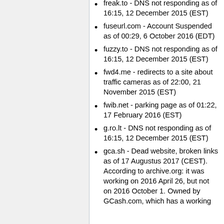freak.to - DNS not responding as of 16:15, 12 December 2015 (EST)
fuseurl.com - Account Suspended as of 00:29, 6 October 2016 (EDT)
fuzzy.to - DNS not responding as of 16:15, 12 December 2015 (EST)
fwd4.me - redirects to a site about traffic cameras as of 22:00, 21 November 2015 (EST)
fwib.net - parking page as of 01:22, 17 February 2016 (EST)
g.ro.lt - DNS not responding as of 16:15, 12 December 2015 (EST)
gca.sh - Dead website, broken links as of 17 Augustus 2017 (CEST). According to archive.org: it was working on 2016 April 26, but not on 2016 October 1. Owned by GCash.com, which has a working